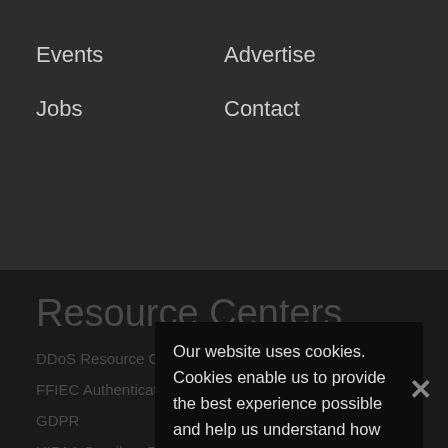Events
Advertise
Jobs
Contact
Resource Centers
DDoS Resource Center
FFIEC Authentication Guidance
GDPR
HIPAA Omnibus Rule
Ransomware
Security Intelligence
COVID-19
Our website uses cookies. Cookies enable us to provide the best experience possible and help us understand how visitors use our website. By browsing inforisktoday.co.uk, you agree to our use of cookies.